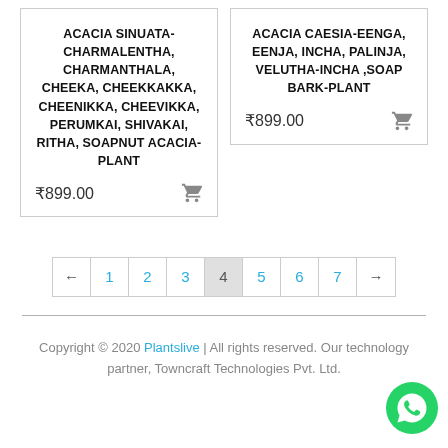ACACIA SINUATA-CHARMALENTHA, CHARMANTHALA, CHEEKA, CHEEKKAKKA, CHEENIKKA, CHEEVIKKA, PERUMKAI, SHIVAKAI, RITHA, SOAPNUT ACACIA-PLANT
₹899.00
ACACIA CAESIA-EENGA, EENJA, INCHA, PALINJA, VELUTHA-INCHA ,SOAP BARK-PLANT
₹899.00
← 1 2 3 4 5 6 7 →
Copyright © 2020 Plantslive | All rights reserved. Our technology partner, Towncraft Technologies Pvt. Ltd.